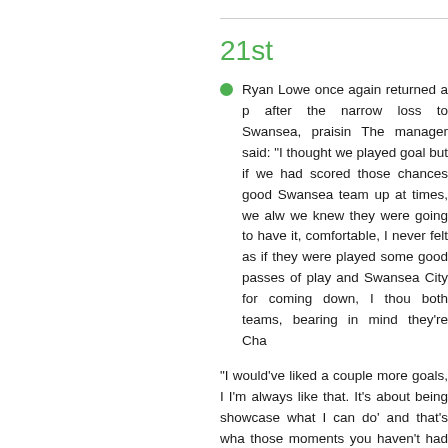21st
Ryan Lowe once again returned a p after the narrow loss to Swansea, praisin The manager said: "I thought we played goal but if we had scored those chances good Swansea team up at times, we alw we knew they were going to have it, comfortable, I never felt as if they were played some good passes of play and Swansea City for coming down, I thou both teams, bearing in mind they're Cha
"I would've liked a couple more goals, I I'm always like that. It's about being showcase what I can do' and that's wha those moments you haven't had for so 3,500, imagine this place when it's pac season. Credit where credit's due to the so have the players, and so have oursel a great occasion to have them back.
Youngster Ryan Law got a game agai his manager, echoing excitement at the with all the fans back in, the first time I' was quite a good game to play in. It's